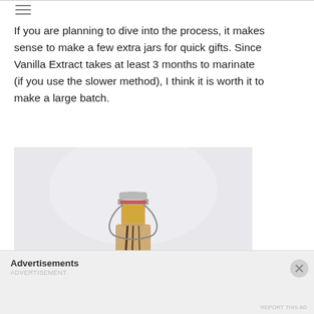≡
If you are planning to dive into the process, it makes sense to make a few extra jars for quick gifts. Since Vanilla Extract takes at least 3 months to marinate (if you use the slower method), I think it is worth it to make a large batch.
[Figure (photo): Close-up of a glass bottle with a swing-top lid containing vanilla extract with vanilla beans inside, photographed against a light grey background.]
Advertisements